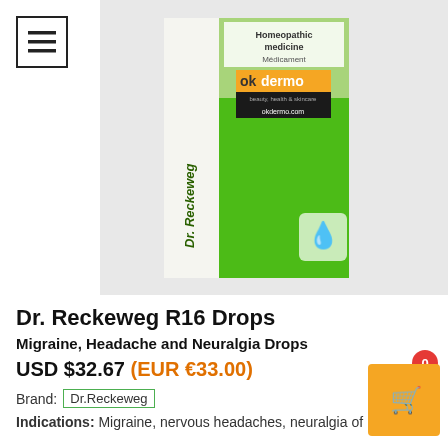[Figure (photo): Dr. Reckeweg R16 Drops product box — green homeopathic medicine bottle packaging with okdermo watermark overlay. Text on box: 'Homeopathic medicine', 'Médicament', 'Dr. Reckeweg']
Dr. Reckeweg R16 Drops
Migraine, Headache and Neuralgia Drops
USD $32.67 (EUR €33.00)
Brand: Dr.Reckeweg
Indications: Migraine, nervous headaches, neuralgia of